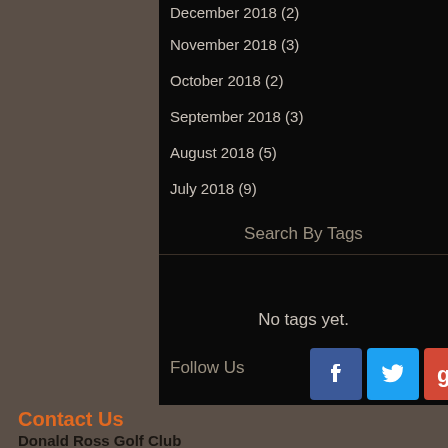December 2018 (2)
November 2018 (3)
October 2018 (2)
September 2018 (3)
August 2018 (5)
July 2018 (9)
Search By Tags
No tags yet.
Follow Us
[Figure (logo): Facebook, Twitter, Google+ social media icons]
Contact Us
Donald Ross Golf Club